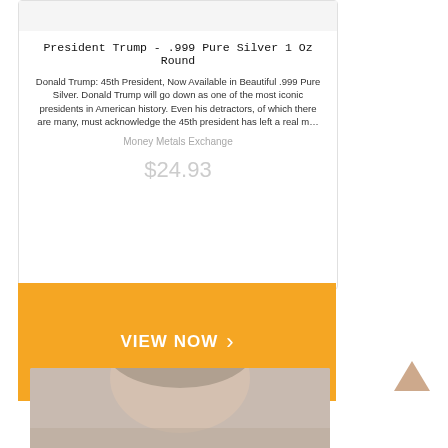President Trump - .999 Pure Silver 1 Oz Round
Donald Trump: 45th President, Now Available in Beautiful .999 Pure Silver. Donald Trump will go down as one of the most iconic presidents in American history. Even his detractors, of which there are many, must acknowledge the 45th president has left a real m…
Money Metals Exchange
$24.93
VIEW NOW
[Figure (photo): Partial photo of a person's face at the bottom of the page]